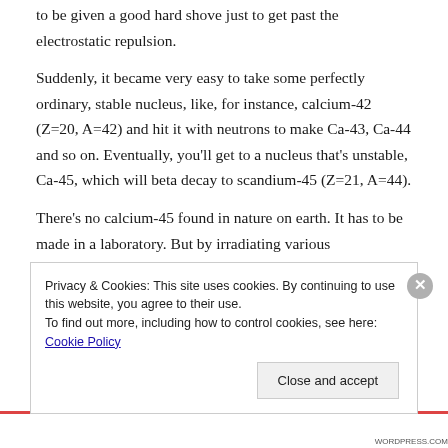to be given a good hard shove just to get past the electrostatic repulsion.
Suddenly, it became very easy to take some perfectly ordinary, stable nucleus, like, for instance, calcium-42 (Z=20, A=42) and hit it with neutrons to make Ca-43, Ca-44 and so on. Eventually, you'll get to a nucleus that's unstable, Ca-45, which will beta decay to scandium-45 (Z=21, A=44).
There's no calcium-45 found in nature on earth. It has to be made in a laboratory. But by irradiating various
Privacy & Cookies: This site uses cookies. By continuing to use this website, you agree to their use.
To find out more, including how to control cookies, see here: Cookie Policy